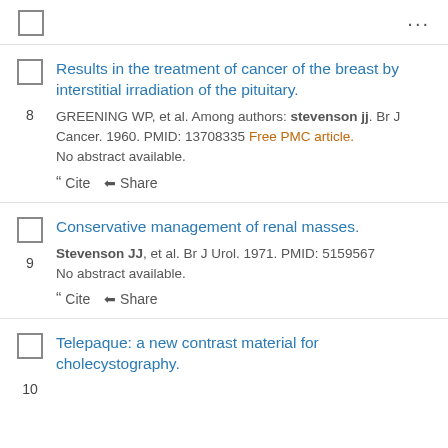... (menu)
8. Results in the treatment of cancer of the breast by interstitial irradiation of the pituitary. GREENING WP, et al. Among authors: stevenson jj. Br J Cancer. 1960. PMID: 13708335 Free PMC article. No abstract available.
9. Conservative management of renal masses. Stevenson JJ, et al. Br J Urol. 1971. PMID: 5159567 No abstract available.
10. Telepaque: a new contrast material for cholecystography.